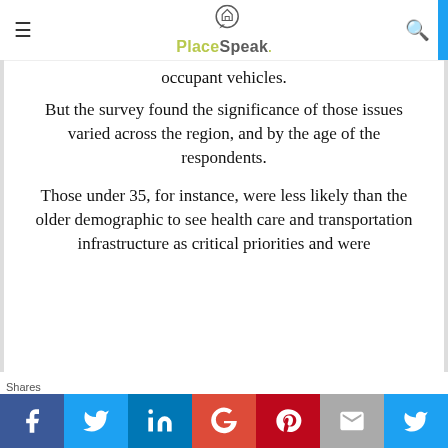PlaceSpeak
occupant vehicles.
But the survey found the significance of those issues varied across the region, and by the age of the respondents.
Those under 35, for instance, were less likely than the older demographic to see health care and transportation infrastructure as critical priorities and were